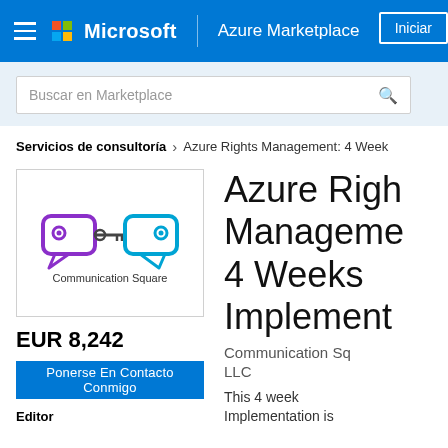[Figure (screenshot): Microsoft Azure Marketplace navigation header bar with hamburger menu, Microsoft logo, Azure Marketplace text, and Iniciar session button]
Buscar en Marketplace
Servicios de consultoría > Azure Rights Management: 4 Week
[Figure (logo): Communication Square logo with two speech bubbles connected by a key icon]
EUR 8,242
Ponerse En Contacto Conmigo
Editor
Azure Rights Management 4 Weeks Implementation
Communication Square LLC
This 4 week Implementation is